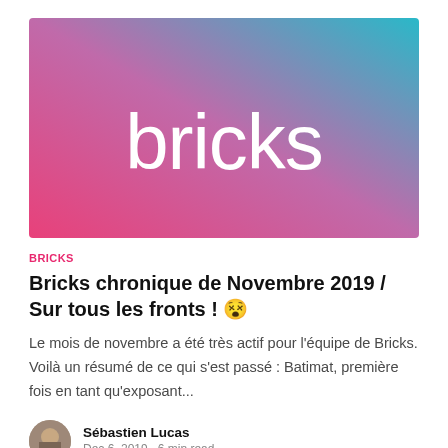[Figure (illustration): Hero image with a pink-to-teal gradient background and the word 'bricks' in large white lowercase text centered on it]
BRICKS
Bricks chronique de Novembre 2019 / Sur tous les fronts ! 😵
Le mois de novembre a été très actif pour l'équipe de Bricks. Voilà un résumé de ce qui s'est passé : Batimat, première fois en tant qu'exposant...
Sébastien Lucas
Dec 6, 2019 • 6 min read